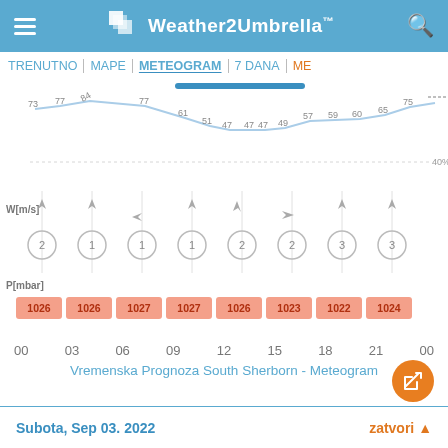Weather2Umbrella™
TRENUTNO | MAPE | METEOGRAM | 7 DANA | ME
[Figure (continuous-plot): Meteogram line chart showing humidity/cloud percentage values over time (73, 77, 84, 77, 61, 51, 47, 47, 47, 49, 57, 59, 60, 65, 75). Blue horizontal bar at top. 40% reference line on right.]
[Figure (infographic): Wind speed section showing W[m/s] label with wind direction arrows and speed values in circles for each time slot: 2, 1, 1, 1, 2, 2, 3, 3]
[Figure (infographic): Pressure section P[mbar] with orange-highlighted boxes showing values: 1026, 1026, 1027, 1027, 1026, 1023, 1022, 1024]
00  03  06  09  12  15  18  21  00
Vremenska Prognoza South Sherborn - Meteogram
Subota, Sep 03. 2022   zatvori ▲